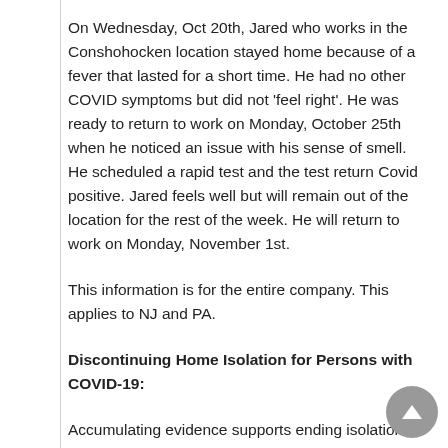On Wednesday, Oct 20th, Jared who works in the Conshohocken location stayed home because of a fever that lasted for a short time. He had no other COVID symptoms but did not 'feel right'. He was ready to return to work on Monday, October 25th when he noticed an issue with his sense of smell. He scheduled a rapid test and the test return Covid positive. Jared feels well but will remain out of the location for the rest of the week. He will return to work on Monday, November 1st.
This information is for the entire company. This applies to NJ and PA.
Discontinuing Home Isolation for Persons with COVID-19:
Accumulating evidence supports ending isolation and precautions for persons with COVID-19 using a symptom-based strategy. Specifically, researchers have reported that people with mild to moderate COVID-19 cases in infection no longer than 10 days after their